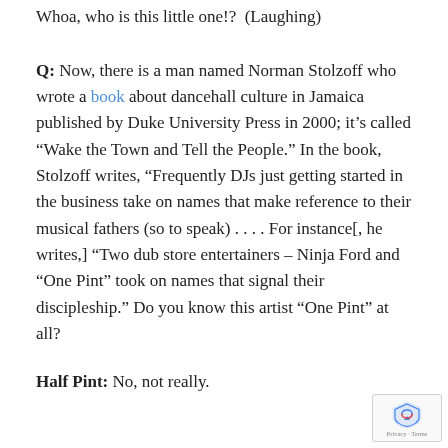Whoa, who is this little one!?  (Laughing)
Q: Now, there is a man named Norman Stolzoff who wrote a book about dancehall culture in Jamaica published by Duke University Press in 2000; it's called “Wake the Town and Tell the People.” In the book, Stolzoff writes, “Frequently DJs just getting started in the business take on names that make reference to their musical fathers (so to speak) . . . . For instance[, he writes,] “Two dub store entertainers – Ninja Ford and “One Pint” took on names that signal their discipleship.” Do you know this artist “One Pint” at all?
Half Pint: No, not really.